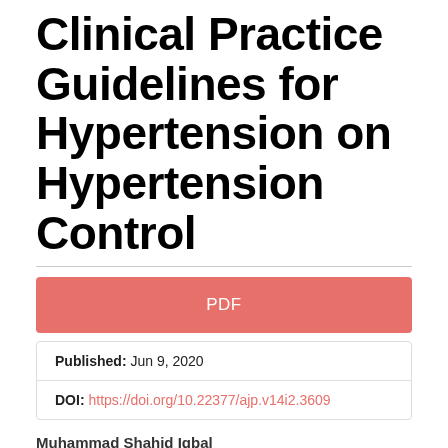Clinical Practice Guidelines for Hypertension on Hypertension Control
PDF
Published: Jun 9, 2020
DOI: https://doi.org/10.22377/ajp.v14i2.3609
Muhammad Shahid Iqbal